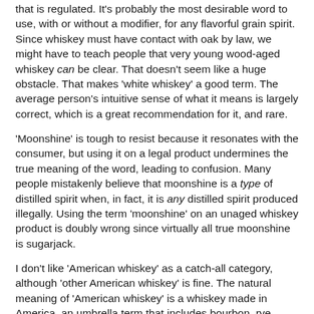that is regulated. It's probably the most desirable word to use, with or without a modifier, for any flavorful grain spirit. Since whiskey must have contact with oak by law, we might have to teach people that very young wood-aged whiskey can be clear. That doesn't seem like a huge obstacle. That makes 'white whiskey' a good term. The average person's intuitive sense of what it means is largely correct, which is a great recommendation for it, and rare.
'Moonshine' is tough to resist because it resonates with the consumer, but using it on a legal product undermines the true meaning of the word, leading to confusion. Many people mistakenly believe that moonshine is a type of distilled spirit when, in fact, it is any distilled spirit produced illegally. Using the term 'moonshine' on an unaged whiskey product is doubly wrong since virtually all true moonshine is sugarjack.
I don't like 'American whiskey' as a catch-all category, although 'other American whiskey' is fine. The natural meaning of 'American whiskey' is a whiskey made in America, an umbrella term that includes bourbon, rye, corn, blended, Tennessee, i.e., everything not everything except the...